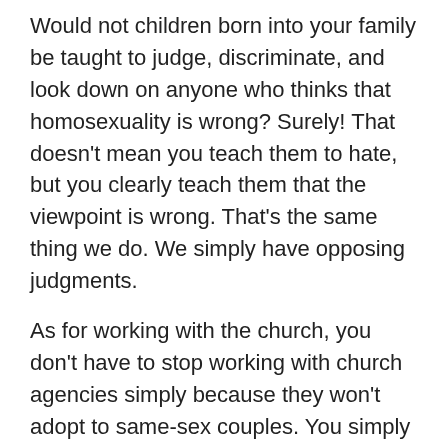Would not children born into your family be taught to judge, discriminate, and look down on anyone who thinks that homosexuality is wrong? Surely! That doesn't mean you teach them to hate, but you clearly teach them that the viewpoint is wrong. That's the same thing we do. We simply have opposing judgments.
As for working with the church, you don't have to stop working with church agencies simply because they won't adopt to same-sex couples. You simply expand the organizations you work with to include other organizations who will do that. One thing you don't do is stop working with those who know how to do something well just because they don't do all that you want them to do.